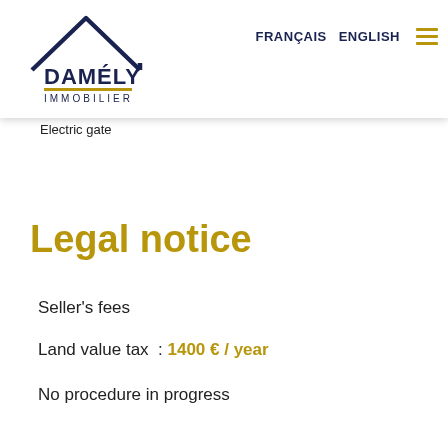[Figure (logo): Damély Immobilier logo with roof/house outline in dark navy and gold underline]
Electric gate
Legal notice
Seller's fees
Land value tax  : 1400 € / year
No procedure in progress